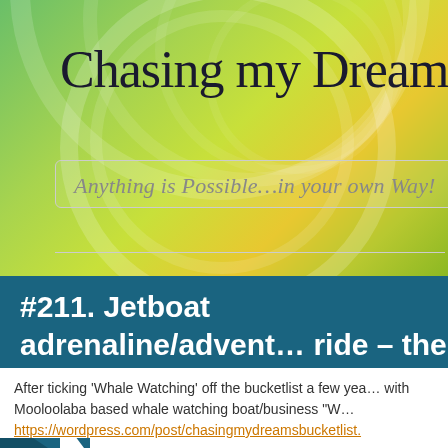Chasing my Dreams!
Anything is Possible…in your own Way!
#211. Jetboat adrenaline/adventure ride – the teaser!
After ticking 'Whale Watching' off the bucketlist a few years ago with Mooloolaba based whale watching boat/business "W…
https://wordpress.com/post/chasingmydreamsbucketlist.